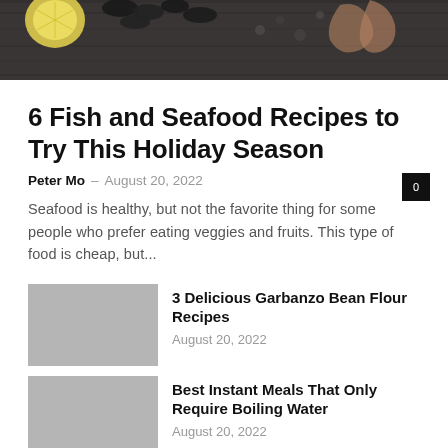[Figure (photo): Top portion of a food photo showing seafood ingredients including mussels/clams, shrimp/crayfish, lemon slices on a dark wooden surface]
6 Fish and Seafood Recipes to Try This Holiday Season
Peter Mo - August 20, 2022
Seafood is healthy, but not the favorite thing for some people who prefer eating veggies and fruits. This type of food is cheap, but...
[Figure (photo): Thumbnail image placeholder for Garbanzo Bean Flour Recipes article]
3 Delicious Garbanzo Bean Flour Recipes
August 20, 2022
[Figure (photo): Thumbnail image placeholder for Best Instant Meals article]
Best Instant Meals That Only Require Boiling Water
August 20, 2022
[Figure (photo): Thumbnail image placeholder for 6 Lazy Keto Meals article]
6 Lazy Keto Meals that are Perfect for Busy Weeknights